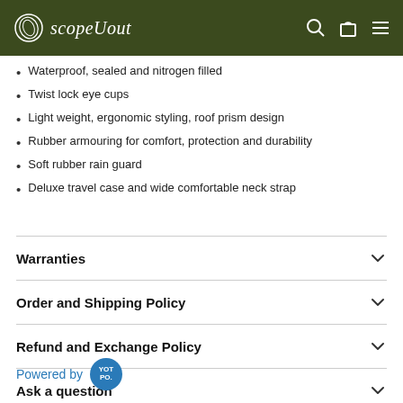scopeUout
Waterproof, sealed and nitrogen filled
Twist lock eye cups
Light weight, ergonomic styling, roof prism design
Rubber armouring for comfort, protection and durability
Soft rubber rain guard
Deluxe travel case and wide comfortable neck strap
Warranties
Order and Shipping Policy
Refund and Exchange Policy
Ask a question
Powered by YOTPO